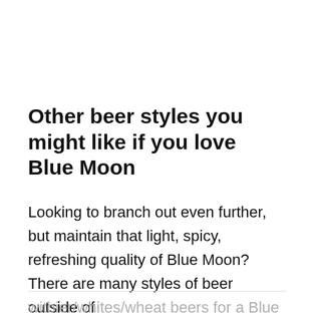Other beer styles you might like if you love Blue Moon
Looking to branch out even further, but maintain that light, spicy, refreshing quality of Blue Moon? There are many styles of beer outside of
witbier/whites/wheat beers for a Blue